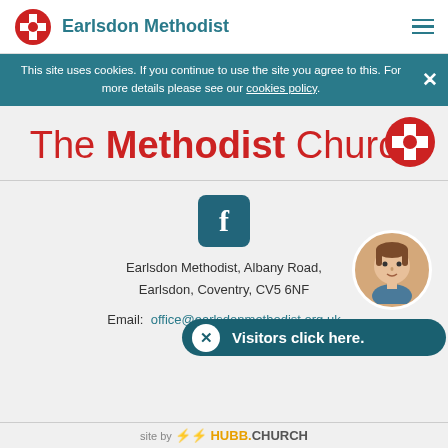Earlsdon Methodist
This site uses cookies. If you continue to use the site you agree to this. For more details please see our cookies policy.
[Figure (logo): The Methodist Church logo with red cross/circle icon and red text reading 'The Methodist Church']
[Figure (logo): Facebook icon - white 'f' on teal rounded square background]
Earlsdon Methodist, Albany Road, Earlsdon, Coventry, CV5 6NF
Email: office@earlsdonmethodist.org.uk
Tel:
[Figure (illustration): Cartoon avatar of a person with brown hair in a circular frame]
Visitors click here.
site by HUBB.CHURCH